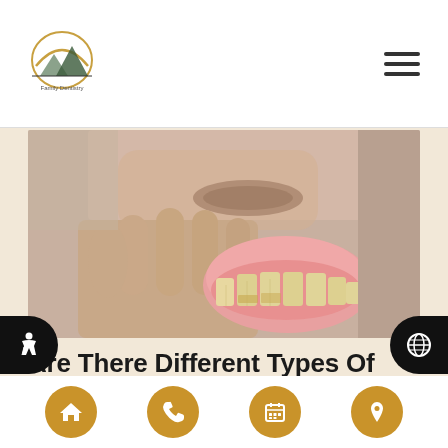Dental practice logo and navigation menu
[Figure (photo): Close-up photo of an elderly person holding a full upper denture prosthesis near their mouth]
Are There Different Types Of Dentures?
Anyone considering getting dentures to replace part
Navigation buttons: home, phone, calendar, location; accessibility and globe icons